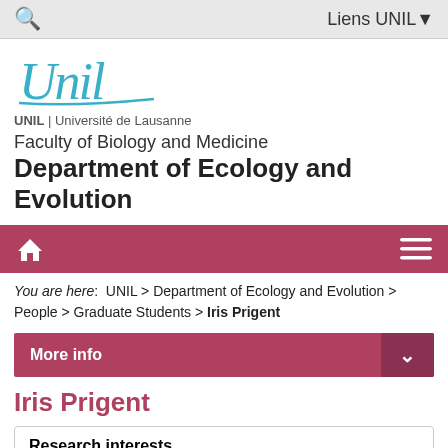Q  Liens UNIL▾
[Figure (logo): UNIL Université de Lausanne handwritten-style logo in teal/blue]
UNIL | Université de Lausanne
Faculty of Biology and Medicine
Department of Ecology and Evolution
[Figure (other): Dark red/maroon navigation bar with home icon on left and hamburger menu on right]
You are here:  UNIL > Department of Ecology and Evolution > People > Graduate Students > Iris Prigent
More info
Iris Prigent
Research interests
My main project focuses on modelling the role of niche-construction for the emergence of polymorphism in